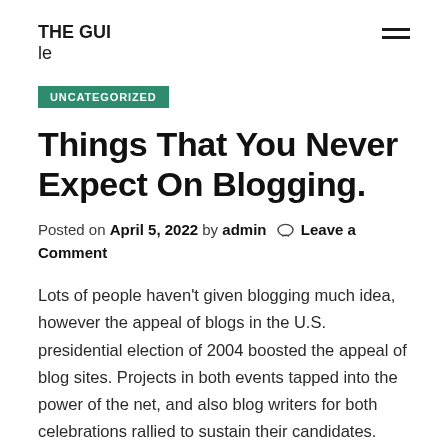THE GUI
le
UNCATEGORIZED
Things That You Never Expect On Blogging.
Posted on April 5, 2022 by admin  Leave a Comment
Lots of people haven't given blogging much idea, however the appeal of blogs in the U.S. presidential election of 2004 boosted the appeal of blog sites. Projects in both events tapped into the power of the net, and also blog writers for both celebrations rallied to sustain their candidates. Probably one of the most notable blogger was Autonomous presidential candidate Howard Dean,